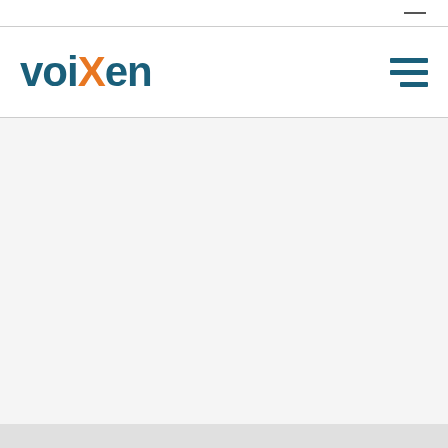[Figure (logo): voiXen logo with 'voi' and 'en' in dark teal, 'X' in orange, bold sans-serif font]
[Figure (other): Hamburger menu icon with three horizontal dark teal bars]